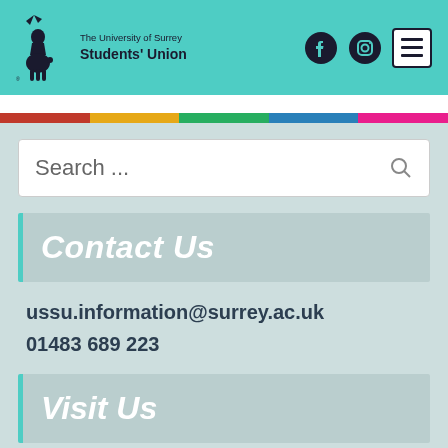The University of Surrey Students' Union
Contact Us
ussu.information@surrey.ac.uk
01483 689 223
Visit Us
We're the big red building a 2 minute walk from The Hive